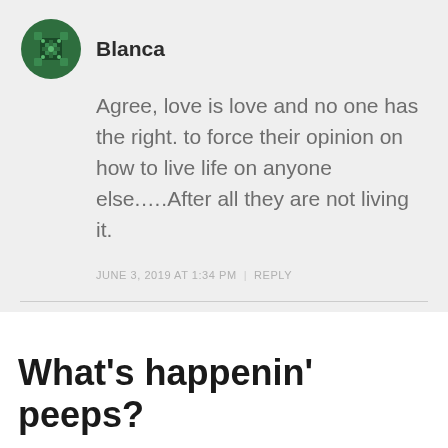[Figure (illustration): Green decorative avatar icon with geometric pattern, for user Blanca]
Blanca
Agree, love is love and no one has the right. to force their opinion on how to live life on anyone else.….After all they are not living it.
JUNE 3, 2019 AT 1:34 PM | REPLY
What's happenin' peeps?